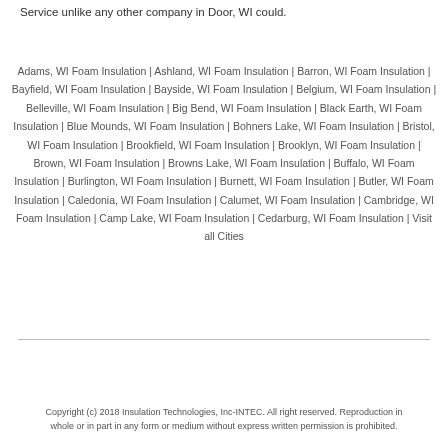Service unlike any other company in Door, WI could.
Adams, WI Foam Insulation | Ashland, WI Foam Insulation | Barron, WI Foam Insulation | Bayfield, WI Foam Insulation | Bayside, WI Foam Insulation | Belgium, WI Foam Insulation | Belleville, WI Foam Insulation | Big Bend, WI Foam Insulation | Black Earth, WI Foam Insulation | Blue Mounds, WI Foam Insulation | Bohners Lake, WI Foam Insulation | Bristol, WI Foam Insulation | Brookfield, WI Foam Insulation | Brooklyn, WI Foam Insulation | Brown, WI Foam Insulation | Browns Lake, WI Foam Insulation | Buffalo, WI Foam Insulation | Burlington, WI Foam Insulation | Burnett, WI Foam Insulation | Butler, WI Foam Insulation | Caledonia, WI Foam Insulation | Calumet, WI Foam Insulation | Cambridge, WI Foam Insulation | Camp Lake, WI Foam Insulation | Cedarburg, WI Foam Insulation | Visit all Cities
Copyright (c) 2018 Insulation Technologies, Inc-INTEC. All right reserved. Reproduction in whole or in part in any form or medium without express written permission is prohibited.